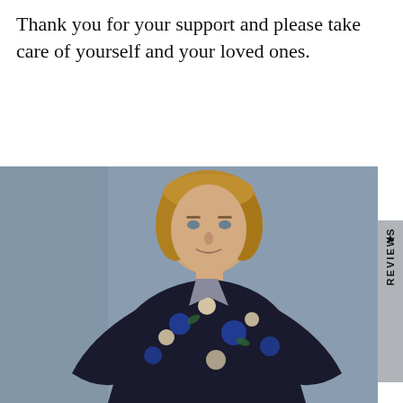Thank you for your support and please take care of yourself and your loved ones.
[Figure (photo): A woman with short blonde hair wearing a dark floral dress, photographed against a grey-blue background. A vertical 'REVIEWS' tab with a star icon appears on the right side of the image.]